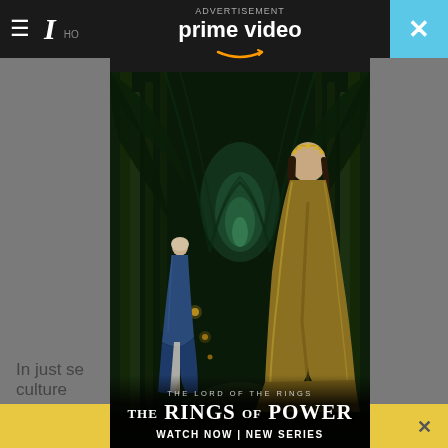[Figure (screenshot): Screenshot of a webpage with an Amazon Prime Video advertisement overlay. The background shows a darkened news website with a hamburger menu, newspaper logo, and navigation bar. The main content is an Amazon Prime Video ad for 'The Lord of the Rings: The Rings of Power' showing two figures in a mystical forest tunnel — one in blue robes on the left, one in gold robes with a crown on the right. The ad header shows 'ADVERTISEMENT' label, 'prime video' text with the Amazon smile logo. The poster bottom reads 'THE LORD OF THE RINGS', 'THE RINGS OF POWER', 'WATCH NOW | NEW SERIES'. A cyan close button (X) appears top right. The background page shows partial text 'In just se... pority' and 'culture...' at the bottom, with a yellow bar at the very bottom.]